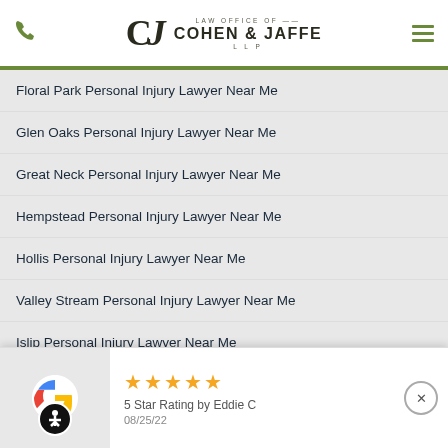Law Office of Cohen & Jaffe LLP
Floral Park Personal Injury Lawyer Near Me
Glen Oaks Personal Injury Lawyer Near Me
Great Neck Personal Injury Lawyer Near Me
Hempstead Personal Injury Lawyer Near Me
Hollis Personal Injury Lawyer Near Me
Valley Stream Personal Injury Lawyer Near Me
Islip Personal Injury Lawyer Near Me
[Figure (screenshot): Google review bar showing 5 star rating by Eddie C dated 08/25/22]